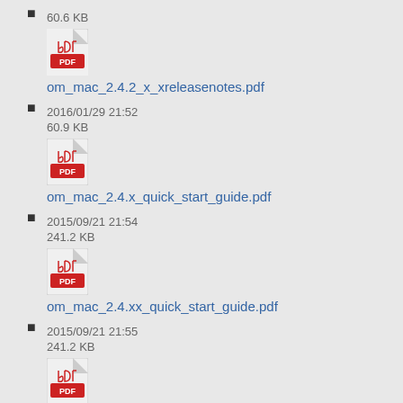60.6 KB
om_mac_2.4.2_x_xreleasenotes.pdf
2016/01/29 21:52
60.9 KB
om_mac_2.4.x_quick_start_guide.pdf
2015/09/21 21:54
241.2 KB
om_mac_2.4.xx_quick_start_guide.pdf
2015/09/21 21:55
241.2 KB
om_mac_2.5.0_releasenotes.pdf